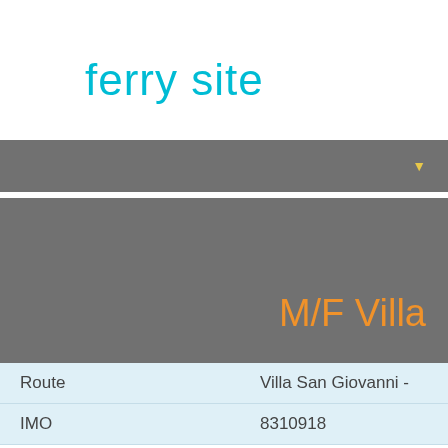ferry site
M/F Villa
| Route | Villa San Giovanni - |
| --- | --- |
| IMO | 8310918 |